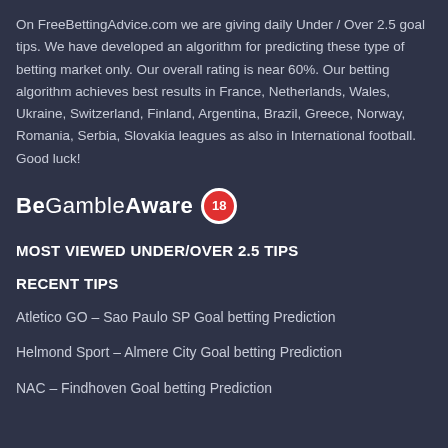On FreeBettingAdvice.com we are giving daily Under / Over 2.5 goal tips. We have developed an algorithm for predicting these type of betting market only. Our overall rating is near 60%. Our betting algorithm achieves best results in France, Netherlands, Wales, Ukraine, Switzerland, Finland, Argentina, Brazil, Greece, Norway, Romania, Serbia, Slovakia leagues as also in International football. Good luck!
[Figure (logo): BeGambleAware logo with 18+ badge]
MOST VIEWED UNDER/OVER 2.5 TIPS
RECENT TIPS
Atletico GO – Sao Paulo SP Goal betting Prediction
Helmond Sport – Almere City Goal betting Prediction
NAC – Findhoven Goal betting Prediction